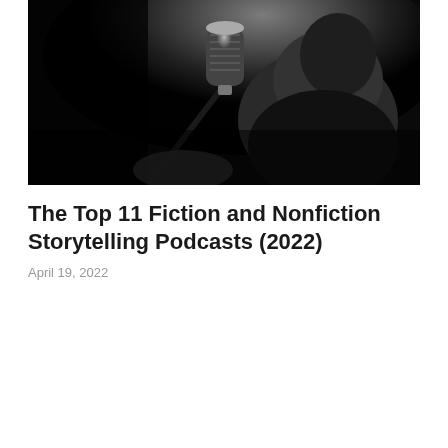[Figure (photo): Black and white photograph of a person speaking into a vintage microphone in a dark studio setting. The subject is partially illuminated, with dramatic shadows against a dark background.]
The Top 11 Fiction and Nonfiction Storytelling Podcasts (2022)
April 19, 2022